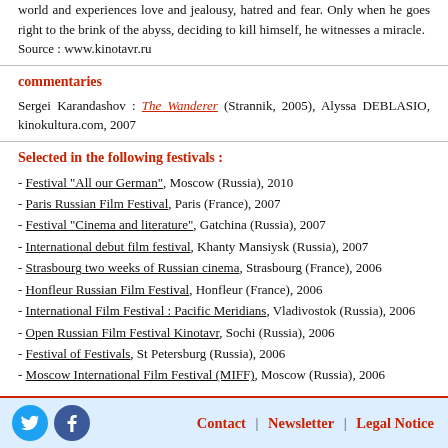world and experiences love and jealousy, hatred and fear. Only when he goes right to the brink of the abyss, deciding to kill himself, he witnesses a miracle. Source : www.kinotavr.ru
commentaries
Sergei Karandashov : The Wanderer (Strannik, 2005), Alyssa DEBLASIO, kinokultura.com, 2007
Selected in the following festivals :
- Festival "All our German", Moscow (Russia), 2010
- Paris Russian Film Festival, Paris (France), 2007
- Festival "Cinema and literature", Gatchina (Russia), 2007
- International debut film festival, Khanty Mansiysk (Russia), 2007
- Strasbourg two weeks of Russian cinema, Strasbourg (France), 2006
- Honfleur Russian Film Festival, Honfleur (France), 2006
- International Film Festival : Pacific Meridians, Vladivostok (Russia), 2006
- Open Russian Film Festival Kinotavr, Sochi (Russia), 2006
- Festival of Festivals, St Petersburg (Russia), 2006
- Moscow International Film Festival (MIFF), Moscow (Russia), 2006
Contact | Newsletter | Legal Notice